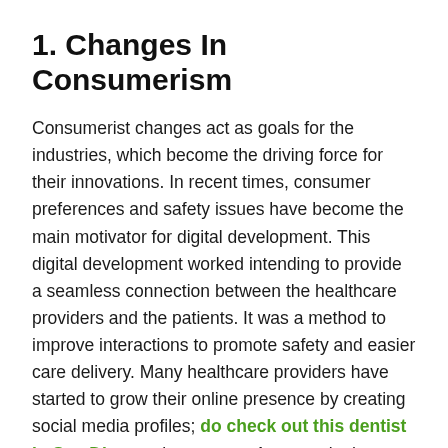1. Changes In Consumerism
Consumerist changes act as goals for the industries, which become the driving force for their innovations. In recent times, consumer preferences and safety issues have become the main motivator for digital development. This digital development worked intending to provide a seamless connection between the healthcare providers and the patients. It was a method to improve interactions to promote safety and easier care delivery. Many healthcare providers have started to grow their online presence by creating social media profiles; do check out this dentist in San Diego to learn more. As a result, the consumer expectations are motivating the stakeholders to elevate the patient healthcare encounters and give them a complete holistic care experience.